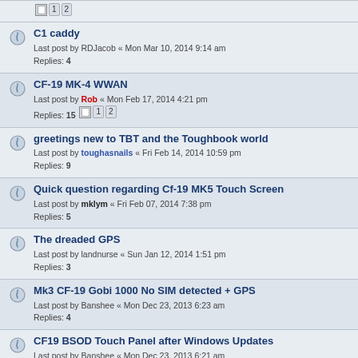C1 caddy — Last post by RDJacob « Mon Mar 10, 2014 9:14 am — Replies: 4
CF-19 MK-4 WWAN — Last post by Rob « Mon Feb 17, 2014 4:21 pm — Replies: 15
greetings new to TBT and the Toughbook world — Last post by toughasnails « Fri Feb 14, 2014 10:59 pm — Replies: 9
Quick question regarding Cf-19 MK5 Touch Screen — Last post by mklym « Fri Feb 07, 2014 7:38 pm — Replies: 5
The dreaded GPS — Last post by landnurse « Sun Jan 12, 2014 1:51 pm — Replies: 3
Mk3 CF-19 Gobi 1000 No SIM detected + GPS — Last post by Banshee « Mon Dec 23, 2013 6:23 am — Replies: 4
CF19 BSOD Touch Panel after Windows Updates — Last post by Banshee « Mon Dec 23, 2013 6:21 am — Replies: 2
C2 Bios locked out! — Last post by ADOR « Tue Dec 10, 2013 11:09 am — Replies: 6
CF-19 Mk3 Win7 - Front Panel Buttons and Screen Rotate — Last post by Banshee « Tue Dec 10, 2013 2:32 am
cf-19 Mk3 Windows 7 — Last post by Banshee « Fri Dec 06, 2013 5:39 am